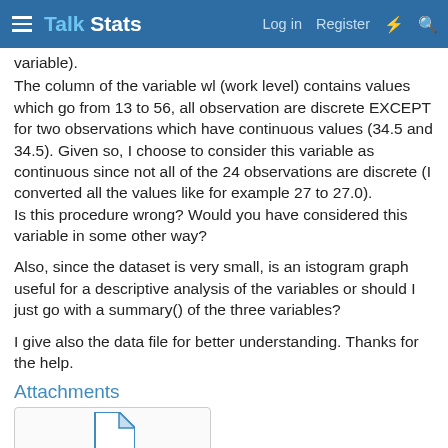Talk Stats — Log in  Register
variable).
The column of the variable wl (work level) contains values which go from 13 to 56, all observation are discrete EXCEPT for two observations which have continuous values (34.5 and 34.5). Given so, I choose to consider this variable as continuous since not all of the 24 observations are discrete (I converted all the values like for example 27 to 27.0).
Is this procedure wrong? Would you have considered this variable in some other way?
Also, since the dataset is very small, is an istogram graph useful for a descriptive analysis of the variables or should I just go with a summary() of the three variables?
I give also the data file for better understanding. Thanks for the help.
Attachments
[Figure (other): File attachment icon — a document/page icon in blue]